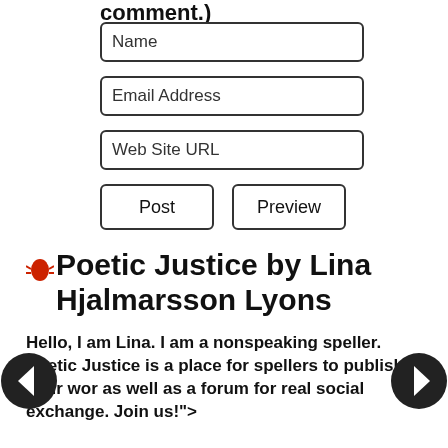comment.)
[Figure (screenshot): Web form with input fields: Name, Email Address, Web Site URL, and two buttons: Post and Preview]
Poetic Justice by Lina Hjalmarsson Lyons
Hello, I am Lina. I am a nonspeaking speller. Poetic Justice is a place for spellers to publish their wor as well as a forum for real social exchange. Join us!">